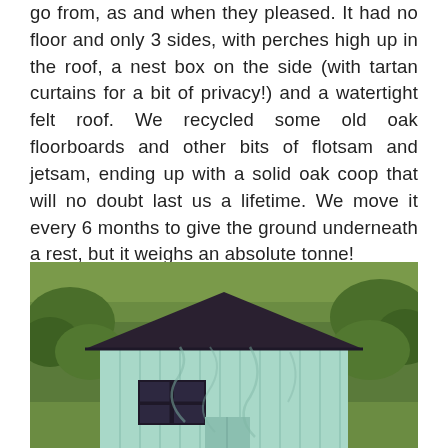go from, as and when they pleased. It had no floor and only 3 sides, with perches high up in the roof, a nest box on the side (with tartan curtains for a bit of privacy!) and a watertight felt roof. We recycled some old oak floorboards and other bits of flotsam and jetsam, ending up with a solid oak coop that will no doubt last us a lifetime. We move it every 6 months to give the ground underneath a rest, but it weighs an absolute tonne!
[Figure (photo): A light blue wooden chicken coop with a dark felt roof, photographed from the front. The coop has vertical wooden planks painted pale blue/mint, a dark roof, and a small window with four panes visible on the front. The coop is set against a background of green grass and shrubs. Shadows from nearby vegetation fall across the front of the coop.]